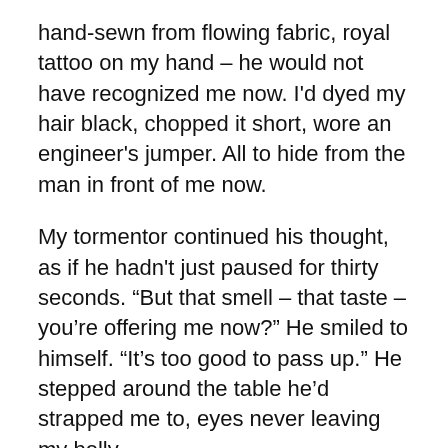hand-sewn from flowing fabric, royal tattoo on my hand – he would not have recognized me now. I'd dyed my hair black, chopped it short, wore an engineer's jumper. All to hide from the man in front of me now.
My tormentor continued his thought, as if he hadn't just paused for thirty seconds. “But that smell – that taste – you're offering me now?” He smiled to himself. “It's too good to pass up.” He stepped around the table he'd strapped me to, eyes never leaving my belly.
“Please,” my words were hoarse from hours of screaming and begging, “don't hurt him.”
“Him?” His gaze flicked to me before returning. I'd